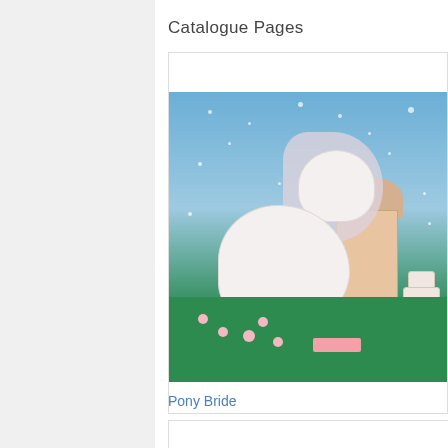Catalogue Pages
[Figure (photo): My Little Pony catalogue page photo showing a white pony bride toy with long white mane and tail on a green grass surface, surrounded by small pink accessories, a wedding cake, a pink building backdrop, and a comb. The background shows a sparkly blue scene. Part of the catalogue page text is visible on the right edge.]
Pony Bride